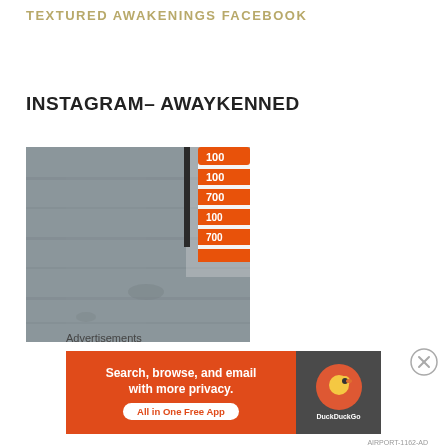TEXTURED AWAKENINGS FACEBOOK
INSTAGRAM– AWAYKENNED
[Figure (photo): Photo of gray wood-plank style flooring with an orange and white patterned object (traffic cone or similar) partially visible at the upper right corner.]
Advertisements
[Figure (screenshot): DuckDuckGo advertisement banner: 'Search, browse, and email with more privacy. All in One Free App' with DuckDuckGo logo on dark background on the right.]
AIRPORT-1162-AD